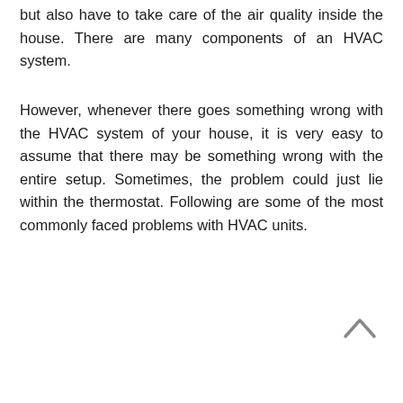but also have to take care of the air quality inside the house. There are many components of an HVAC system.
However, whenever there goes something wrong with the HVAC system of your house, it is very easy to assume that there may be something wrong with the entire setup. Sometimes, the problem could just lie within the thermostat. Following are some of the most commonly faced problems with HVAC units.